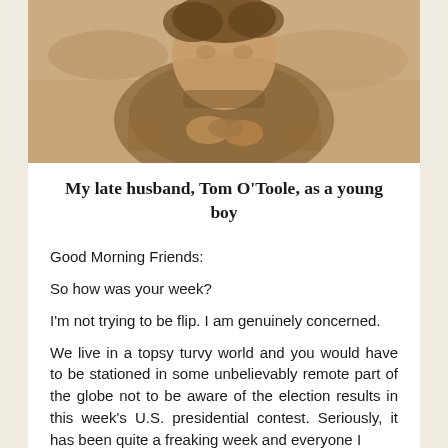[Figure (photo): Sepia-toned vintage photograph of a young boy (Tom O'Toole) holding something in his hands, wearing a sweater, with a blurred outdoor background.]
My late husband, Tom O'Toole, as a young boy
Good Morning Friends:
So how was your week?
I'm not trying to be flip.  I am genuinely concerned.
We live in a topsy turvy world and you would have to be stationed in some unbelievably remote part of the globe not to be aware of the election results in this week's U.S. presidential contest.  Seriously, it has been quite a freaking week and everyone I